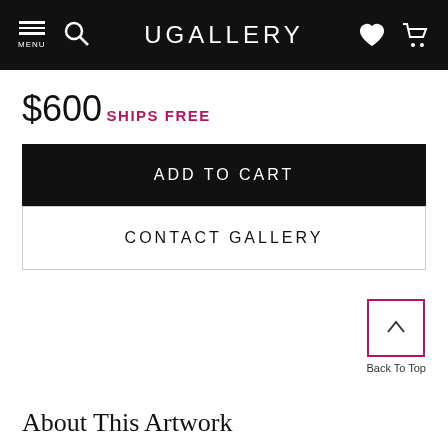UGALLERY
$600
SHIPS FREE
ADD TO CART
CONTACT GALLERY
Back To Top
About This Artwork